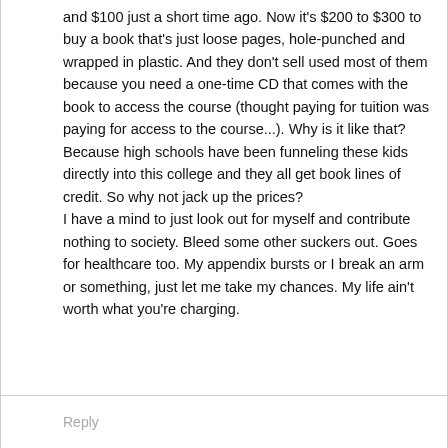and $100 just a short time ago. Now it's $200 to $300 to buy a book that's just loose pages, hole-punched and wrapped in plastic. And they don't sell used most of them because you need a one-time CD that comes with the book to access the course (thought paying for tuition was paying for access to the course...). Why is it like that? Because high schools have been funneling these kids directly into this college and they all get book lines of credit. So why not jack up the prices?
I have a mind to just look out for myself and contribute nothing to society. Bleed some other suckers out. Goes for healthcare too. My appendix bursts or I break an arm or something, just let me take my chances. My life ain't worth what you're charging.
Reply